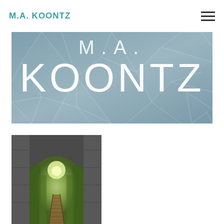M.A. KOONTZ
[Figure (illustration): Hero banner with cracked glass / frosted background showing large text 'M.A. KOONTZ' in white thin letters overlaid on the textured grey-blue image]
[Figure (photo): A wooden boardwalk bridge leading through a stone arch tunnel into a bright green tree-lined path, viewed in perspective]